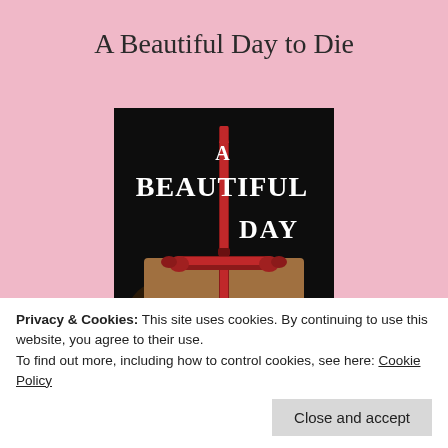A Beautiful Day to Die
[Figure (illustration): Book cover for 'A Beautiful Day to Die' showing white serif text on black background with a red ornate sword and a woman's face with dramatic eye makeup in the lower half.]
Privacy & Cookies: This site uses cookies. By continuing to use this website, you agree to their use.
To find out more, including how to control cookies, see here: Cookie Policy
Close and accept